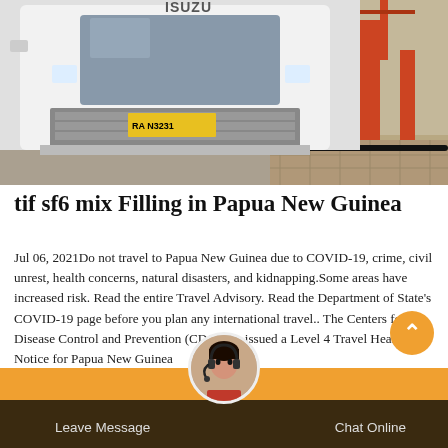[Figure (photo): White Isuzu truck parked on gravel/paving area with construction equipment in background]
tif sf6 mix Filling in Papua New Guinea
Jul 06, 2021Do not travel to Papua New Guinea due to COVID-19, crime, civil unrest, health concerns, natural disasters, and kidnapping.Some areas have increased risk. Read the entire Travel Advisory. Read the Department of State's COVID-19 page before you plan any international travel.. The Centers for Disease Control and Prevention (CDC) has issued a Level 4 Travel Health Notice for Papua New Guinea
Leave Message   Chat Online